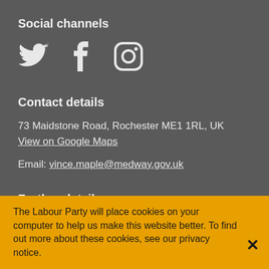Social channels
[Figure (illustration): Three social media icons: Twitter bird, Facebook f, Instagram camera outline]
Contact details
73 Maidstone Road, Rochester ME1 1RL, UK
View on Google Maps
Email: vince.maple@medway.gov.uk
Further details
Medway Labour Group is responsible for the production of election
The Labour Party will place cookies on your computer to help us make this website better. To find out more about these cookies, see our privacy notice.